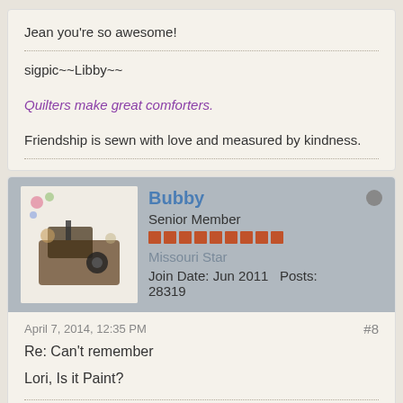Jean you're so awesome!
sigpic~~Libby~~
Quilters make great comforters.
Friendship is sewn with love and measured by kindness.
Bubby
Senior Member
Missouri Star
Join Date: Jun 2011   Posts: 28319
April 7, 2014, 12:35 PM
#8
Re: Can't remember
Lori, Is it Paint?